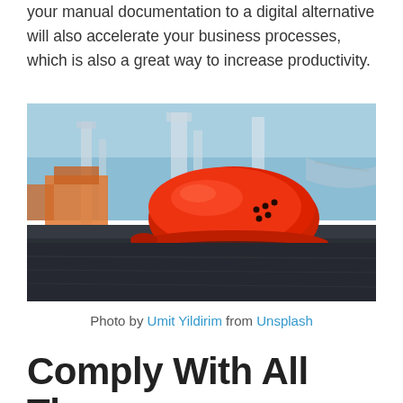your manual documentation to a digital alternative will also accelerate your business processes, which is also a great way to increase productivity.
[Figure (photo): A red construction hard hat lying on a dark asphalt/concrete surface, with blurred industrial cranes and orange machinery in the background against a blue sky.]
Photo by Umit Yildirim from Unsplash
Comply With All The